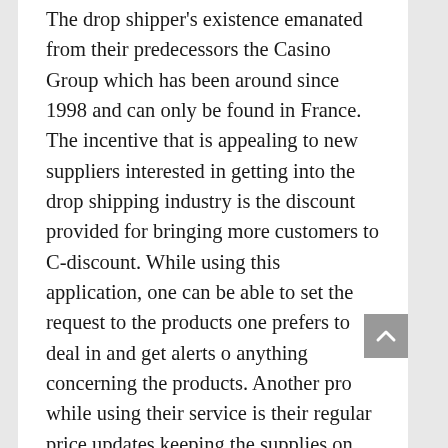The drop shipper's existence emanated from their predecessors the Casino Group which has been around since 1998 and can only be found in France. The incentive that is appealing to new suppliers interested in getting into the drop shipping industry is the discount provided for bringing more customers to C-discount. While using this application, one can be able to set the request to the products one prefers to deal in and get alerts o anything concerning the products. Another pro while using their service is their regular price updates keeping the supplies on their toes. Customer care is also assured while using their service.